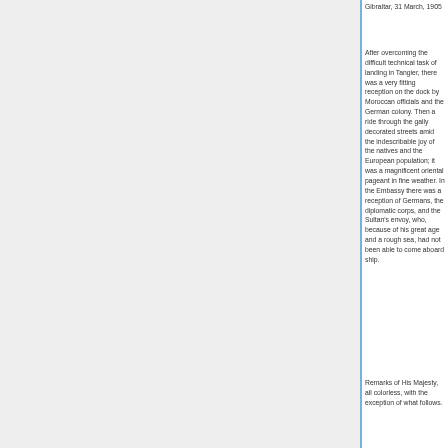Gibraltar, 31 March, 1905
After overcoming the difficult technical task of landing in Tangier, there was a very fitting reception on the dock by Moroccan officials and the German colony. Then a ride through the gaily decorated streets amid the indescribable joy of the natives and the European population; it was a magnificent oriental pageant in fine weather. In the Embassy there was a reception of Germans, the diplomatic corps, and the Sultan's envoy, who, because of his great age and a rough sea, had not been able to come aboard ship.
Remarks of His Majesty, all colorless, with the exception of what follows.